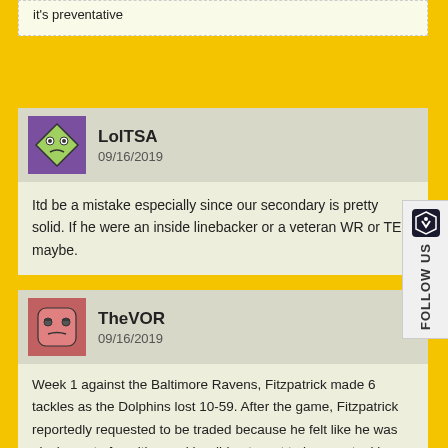it's preventative
LolTSA
09/16/2019
Itd be a mistake especially since our secondary is pretty solid. If he were an inside linebacker or a veteran WR or TE, maybe.
TheVOR
09/16/2019
Week 1 against the Baltimore Ravens, Fitzpatrick made 6 tackles as the Dolphins lost 10-59. After the game, Fitzpatrick reportedly requested to be traded because he felt like he was playing out of position and he did not want to be on a tanking team.

He clearly doesn't want to play safety! We probably need him more at Safety than slot corner. Why does this feel like Josh Jones again, how long until he's unhappy in GB...